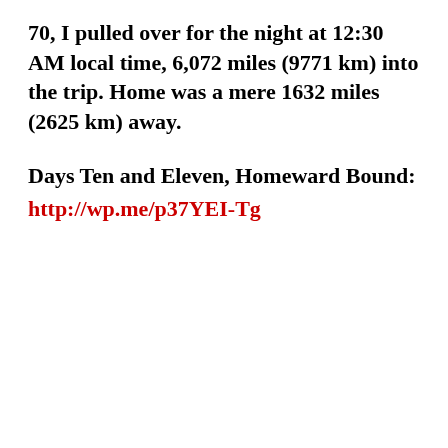70, I pulled over for the night at 12:30 AM local time, 6,072 miles (9771 km) into the trip. Home was a mere 1632 miles (2625 km) away.
Days Ten and Eleven, Homeward Bound:
http://wp.me/p37YEI-Tg